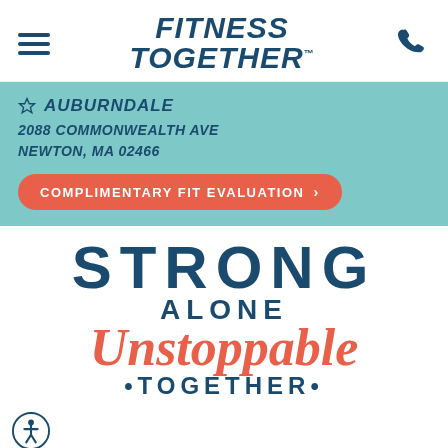[Figure (logo): Fitness Together logo with hamburger menu and phone icon in header]
AUBURNDALE
2088 COMMONWEALTH AVE
NEWTON, MA 02466
COMPLIMENTARY FIT EVALUATION >
[Figure (infographic): Promotional tagline: STRONG ALONE / Unstoppable / TOGETHER]